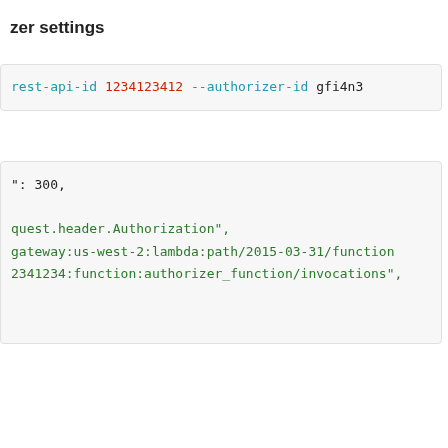zer settings
rest-api-id 1234123412 --authorizer-id gfi4n3
": 300,

guest.header.Authorization",
gateway:us-west-2:lambda:path/2015-03-31/function
2341234:function:authorizer_function/invocations",